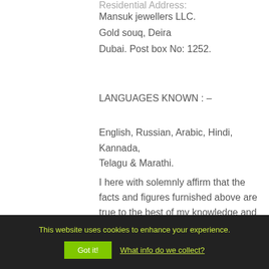Residential Address:
Mansuk jewellers LLC.
Gold souq, Deira
Dubai. Post box No: 1252.
LANGUAGES KNOWN : –
English, Russian, Arabic, Hindi, Kannada, Telagu & Marathi.
I here with solemnly affirm that the facts and figures furnished above are true to the best of my knowledge and belief.
Place: Dubai
This website uses cookies to enhance your experience. Got it! What info do we collect?